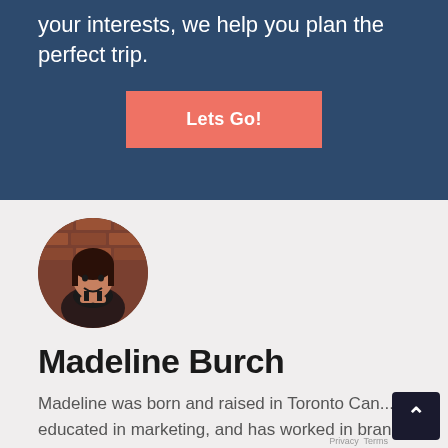your interests, we help you plan the perfect trip.
Lets Go!
[Figure (photo): Circular profile photo of Madeline Burch, a woman with dark hair smiling, photographed against a brick wall background.]
Madeline Burch
Madeline was born and raised in Toronto Can... educated in marketing, and has worked in brand